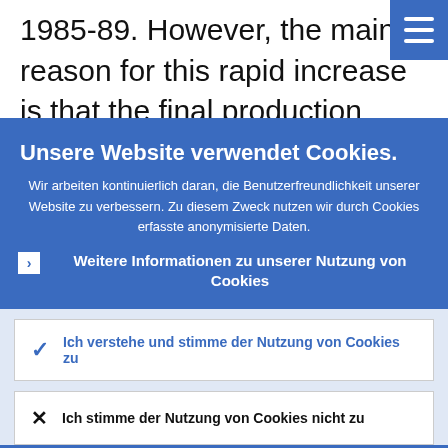1985-89. However, the main reason for this rapid increase is that the final production stage has been transferred to China from industrialised countries, while the...
Unsere Website verwendet Cookies.
Wir arbeiten kontinuierlich daran, die Benutzerfreundlichkeit unserer Website zu verbessern. Zu diesem Zweck nutzen wir durch Cookies erfasste anonymisierte Daten.
Weitere Informationen zu unserer Nutzung von Cookies
Ich verstehe und stimme der Nutzung von Cookies zu
Ich stimme der Nutzung von Cookies nicht zu